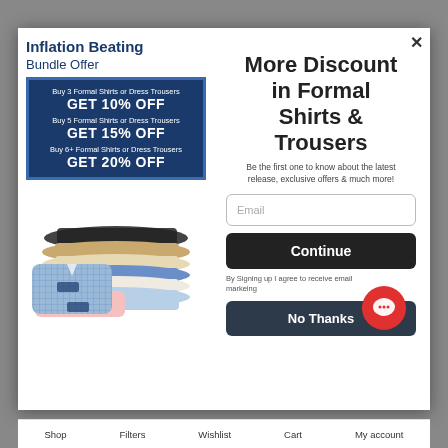Inflation Beating Bundle Offer
Buy 3 Formal Shirts or Dress Trousers GET 10% OFF Buy 5 Formal Shirts or Dress Trousers GET 15% OFF Buy 6+ Formal Shirts or Dress Trousers GET 20% OFF
[Figure (photo): Folded dress shirts and trousers stacked together]
More Discount in Formal Shirts & Trousers
Be the first one to know about the latest release, exclusive offers & much more!
Email
Continue
By Signing up I agree to receive email markeing
No Thanks
Shop   Filters   Wishlist   Cart   My account